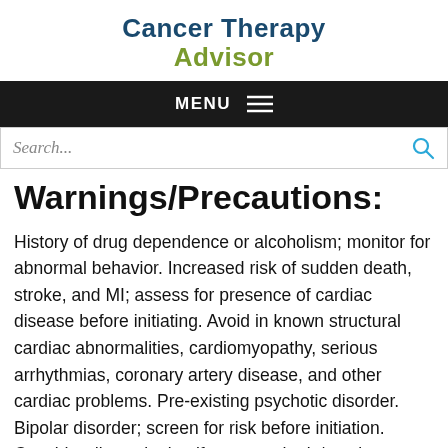Cancer Therapy Advisor
Warnings/Precautions:
History of drug dependence or alcoholism; monitor for abnormal behavior. Increased risk of sudden death, stroke, and MI; assess for presence of cardiac disease before initiating. Avoid in known structural cardiac abnormalities, cardiomyopathy, serious arrhythmias, coronary artery disease, and other cardiac problems. Pre-existing psychotic disorder. Bipolar disorder; screen for risk before initiation. Consider discontinuing if new psychotic/manic symptoms occur. Monitor for new or worsening aggressive behavior or hostility. Seizure disorder. Peripheral vasculopathy, including